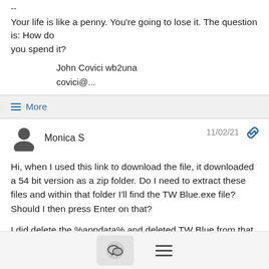--
Your life is like a penny.  You're going to lose it.  The question is: How do
you spend it?
John Covici wb2una
covici@...
≡ More
Monica S  11/02/21
Hi, when I used this link to download the file, it downloaded a 54 bit version as a zip folder.  Do I need to extract these files and within that folder I'll find the TW Blue.exe file?  Should I then press Enter on that?
I did delete the %appdata% and deleted TW Blue from that folder before I downloaded.